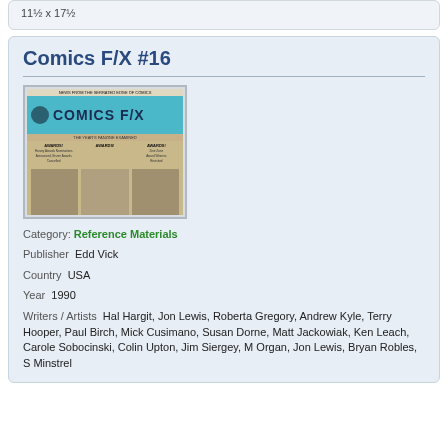11½ x 17½
Comics F/X #16
[Figure (photo): Cover image of Comics F/X newspaper showing teal header with logo and 'COMICS F/X' title, with AWARDS! headlines repeated three times]
Category: Reference Materials
Publisher  Edd Vick
Country  USA
Year  1990
Writers / Artists  Hal Hargit, Jon Lewis, Roberta Gregory, Andrew Kyle, Terry Hooper, Paul Birch, Mick Cusimano, Susan Dorne, Matt Jackowiak, Ken Leach, Carole Sobocinski, Colin Upton, Jim Siergey, M Organ, Jon Lewis, Bryan Robles, S Minstrel